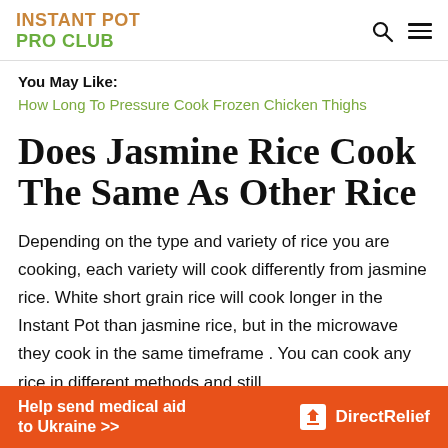INSTANT POT PRO CLUB
You May Like:
How Long To Pressure Cook Frozen Chicken Thighs
Does Jasmine Rice Cook The Same As Other Rice
Depending on the type and variety of rice you are cooking, each variety will cook differently from jasmine rice. White short grain rice will cook longer in the Instant Pot than jasmine rice, but in the microwave they cook in the same timeframe . You can cook any rice in different methods and still
[Figure (infographic): Orange advertisement banner: Help send medical aid to Ukraine >> with Direct Relief logo on the right]